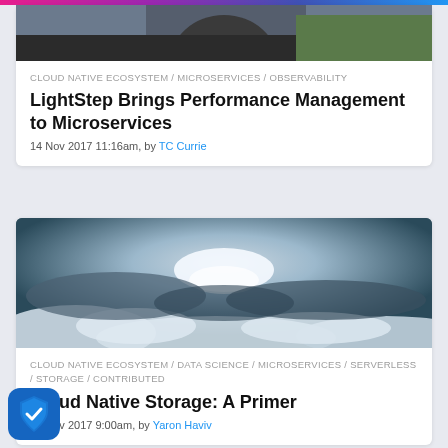[Figure (photo): Partial photo of a person at the top of card 1]
CLOUD NATIVE ECOSYSTEM / MICROSERVICES / OBSERVABILITY
LightStep Brings Performance Management to Microservices
14 Nov 2017 11:16am, by TC Currie
[Figure (photo): Dramatic sky/clouds aerial photo for the Cloud Native Storage article]
CLOUD NATIVE ECOSYSTEM / DATA SCIENCE / MICROSERVICES / SERVERLESS / STORAGE / CONTRIBUTED
Cloud Native Storage: A Primer
14 Nov 2017 9:00am, by Yaron Haviv
[Figure (logo): Shield with checkmark icon (security/privacy badge) in blue, bottom left corner]